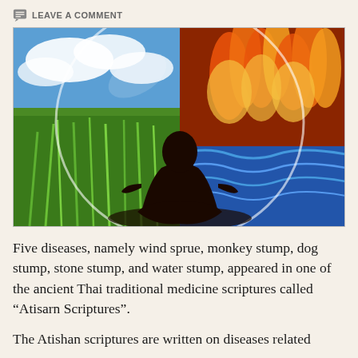LEAVE A COMMENT
[Figure (photo): A silhouette of a person sitting in a lotus meditation pose, centered against a large translucent sphere. The sphere shows four elements: blue sky with clouds (top left), green grass/earth (bottom left), fire/flames (top right), and blue ocean water (bottom right). The background extends beyond the sphere showing fire and earth elements.]
Five diseases, namely wind sprue, monkey stump, dog stump, stone stump, and water stump, appeared in one of the ancient Thai traditional medicine scriptures called “Atisarn Scriptures”.
The Atishan scriptures are written on diseases related